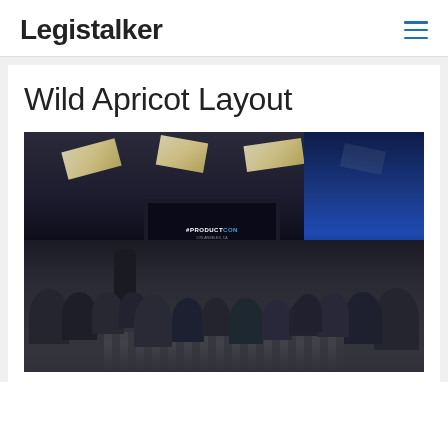Legistalker
Wild Apricot Layout
[Figure (photo): Conference room with audience seated in rows of chairs facing a presentation screen displaying '#PRODUCTCON' with blue stage lighting on the right side and geometric ceiling lights above.]